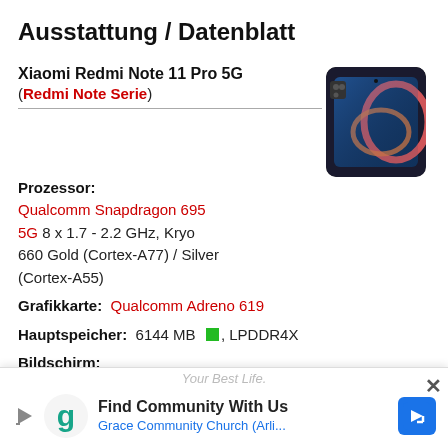Ausstattung / Datenblatt
Xiaomi Redmi Note 11 Pro 5G
(Redmi Note Serie)
[Figure (photo): Photo of Xiaomi Redmi Note 11 Pro 5G smartphone, black colorway with colorful abstract design on screen, rear camera module visible on top-left of back.]
Prozessor:
Qualcomm Snapdragon 695 5G 8 x 1.7 - 2.2 GHz, Kryo 660 Gold (Cortex-A77) / Silver (Cortex-A55)
Grafikkarte:  Qualcomm Adreno 619
Hauptspeicher:  6144 MB [green square], LPDDR4X
Bildschirm:
6.67 Zoll 20:9, 2400 x 1080 Pixel 395 PPI,
[Figure (screenshot): Advertisement banner at bottom of page: 'Find Community With Us - Grace Community Church (Arli...)' with Grammarly-style 'g' logo in teal, play/close buttons, blue navigation arrow icon, and close X button.]